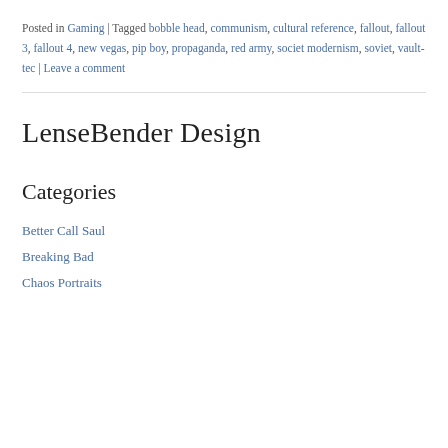Posted in Gaming | Tagged bobble head, communism, cultural reference, fallout, fallout 3, fallout 4, new vegas, pip boy, propaganda, red army, societ modernism, soviet, vault-tec | Leave a comment
LenseBender Design
Categories
Better Call Saul
Breaking Bad
Chaos Portraits